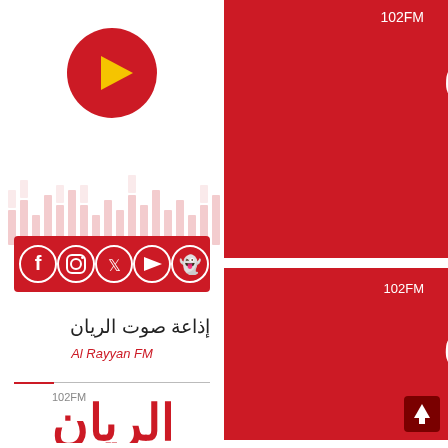[Figure (logo): Red circle with yellow play triangle icon - Al Rayyan FM app icon]
[Figure (infographic): Equalizer bars watermark background in light red/pink]
[Figure (infographic): Red banner with social media icons: Facebook, Instagram, Twitter, YouTube, Snapchat]
[Figure (logo): Al Rayyan FM logo on red background in top right - white Arabic text الريان with yellow accents and 102FM label]
إذاعة صوت الريان
Al Rayyan FM
[Figure (logo): Al Rayyan FM logo - red Arabic text الريان with yellow accents and 102FM label on white background]
[Figure (logo): Al Rayyan FM logo on red background bottom right - white Arabic text with yellow accents and 102FM label]
[Figure (infographic): Dark red scroll-to-top button with upward arrow]